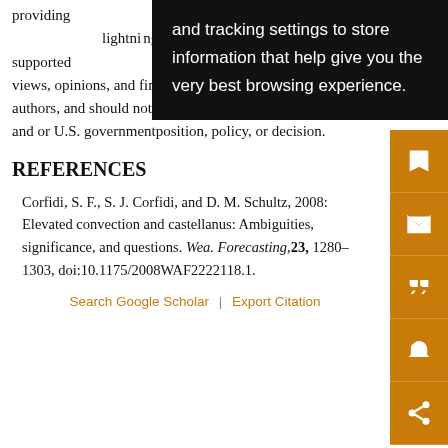providing … We also thank Tim … lightning behavior … supported … er Grant AGS-1059899. The views, opinions, and findings in this report are those of the authors, and should not be construed as an official NOAA and or U.S. government position, policy, or decision.
REFERENCES
Corfidi, S. F., S. J. Corfidi, and D. M. Schultz, 2008: Elevated convection and castellanus: Ambiguities, significance, and questions. Wea. Forecasting, 23, 1280–1303, doi:10.1175/2008WAF2222118.1.
Search Google Scholar | Export Citation